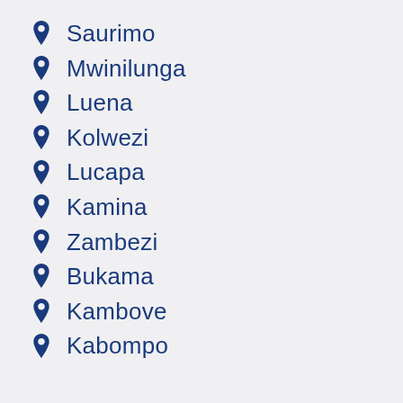Saurimo
Mwinilunga
Luena
Kolwezi
Lucapa
Kamina
Zambezi
Bukama
Kambove
Kabompo